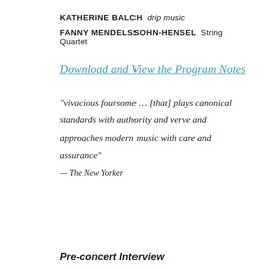KATHERINE BALCH  drip music
FANNY MENDELSSOHN-HENSEL  String Quartet
Download and View the Program Notes
“vivacious foursome … [that] plays canonical standards with authority and verve and approaches modern music with care and assurance”
— The New Yorker
Pre-concert Interview